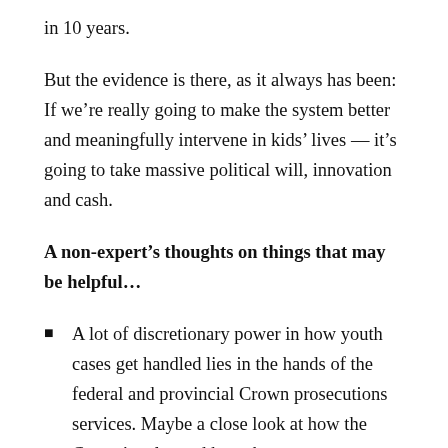in 10 years.
But the evidence is there, as it always has been: If we’re really going to make the system better and meaningfully intervene in kids’ lives — it’s going to take massive political will, innovation and cash.
A non-expert’s thoughts on things that may be helpful…
A lot of discretionary power in how youth cases get handled lies in the hands of the federal and provincial Crown prosecutions services. Maybe a close look at how the Crown’s roles and how that